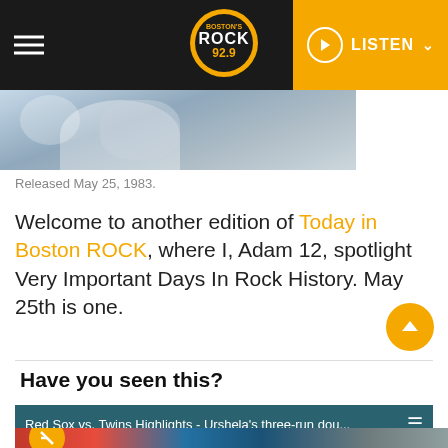Rock 92.9 Boston - Navigation bar with logo and LISTEN button
[Figure (photo): Partial hero image showing a person with feathered costume or wings, slightly blurred]
Released May 25, 1983.
Welcome to another edition of Today in Boston ROCK, where I, Adam 12, spotlight Very Important Days In Rock History. May 25th is one.
Have you seen this?
Red Sox vs. Twins Highlights - Urshela's three-run dou...
[Figure (screenshot): Video thumbnail showing a baseball game with red, blue, and grey colors]